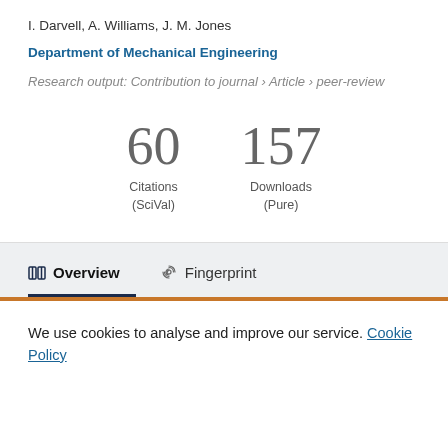I. Darvell, A. Williams, J. M. Jones
Department of Mechanical Engineering
Research output: Contribution to journal › Article › peer-review
60 Citations (SciVal)
157 Downloads (Pure)
Overview
Fingerprint
We use cookies to analyse and improve our service. Cookie Policy